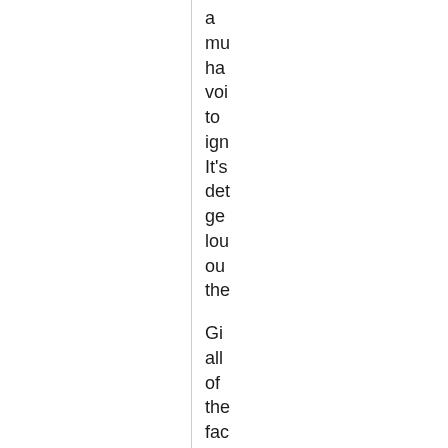a mu ha voi to ign It's det ge lou ou the Gi all of the fac the rel "ne of the